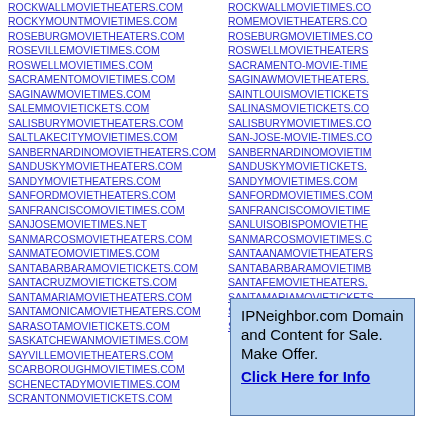ROCKWALLMOVIETHEATERS.COM
ROCKYMOUNTMOVIETIMES.COM
ROSEBURGMOVIETHEATERS.COM
ROSEVILLEMOVIETIMES.COM
ROSWELLMOVIETIMES.COM
SACRAMENTOMOVIETIMES.COM
SAGINAWMOVIETIMES.COM
SALEMMOVIETICKETS.COM
SALISBURYMOVIETHEATERS.COM
SALTLAKECITYMOVIETIMES.COM
SANBERNARDINOMOVIETHEATERS.COM
SANDUSKYMOVIETHEATERS.COM
SANDYMOVIETHEATERS.COM
SANFORDMOVIETHEATERS.COM
SANFRANCISCOMOVIETIMES.COM
SANJOSEMOVIETIMES.NET
SANMARCOSMOVIETHEATERS.COM
SANMATEOMOVIETIMES.COM
SANTABARBARAMOVIETICKETS.COM
SANTACRUZMOVIETICKETS.COM
SANTAMARIAMOVIETHEATERS.COM
SANTAMONICAMOVIETHEATERS.COM
SARASOTAMOVIETICKETS.COM
SASKATCHEWANMOVIETIMES.COM
SAYVILLEMOVIETHEATERS.COM
SCARBOROUGHMOVIETIMES.COM
SCHENECTADYMOVIETIMES.COM
SCRANTONMOVIETICKETS.COM
ROCKWALLMOVIETIMES.CO
ROMEMOVIETHEATERS.CO
ROSEBURGMOVIETIMES.CO
ROSWELLMOVIETHEATERS
SACRAMENTO-MOVIE-TIME
SAGINAWMOVIETHEATERS.
SAINTLOUISMOVIETICKETS
SALINASMOVIETICKETS.CO
SALISBURYMOVIETIMES.CO
SAN-JOSE-MOVIE-TIMES.CO
SANBERNARDINOMOVIETIM
SANDUSKYMOVIETICKETS.
SANDYMOVIETIMES.COM
SANFORDMOVIETIMES.COM
SANFRANCISCOMOVIETIМЕ
SANLUISOBISPOMOVIETHE
SANMARCOSMOVIETIMES.C
SANTAANAMOVIETHEATERS
SANTABARBARAMOVIETIMB
SANTAFEMOVIETHEATERS.
SANTAMARIAMOVIETICKETS
SANTAMONICAMOVIETIMES
SASKATCHEWANMOVIETHE
IPNeighbor.com Domain and Content for Sale. Make Offer. Click Here for Info